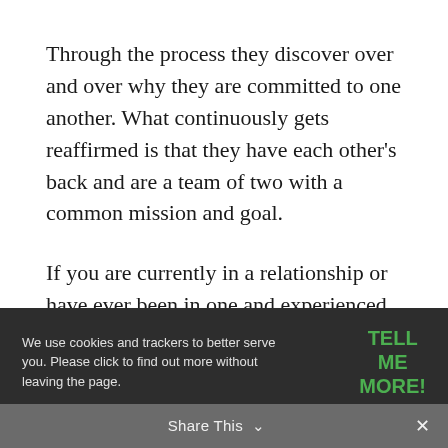Through the process they discover over and over why they are committed to one another. What continuously gets reaffirmed is that they have each other's back and are a team of two with a common mission and goal.
If you are currently in a relationship or have ever been in one and experienced a
We use cookies and trackers to better serve you. Please click to find out more without leaving the page.
TELL ME MORE!
imagine it?
Share This ∨  ×